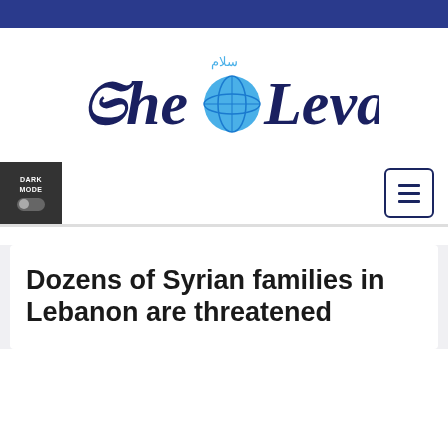[Figure (logo): The Levant newspaper logo in dark navy gothic/blackletter font with a blue globe replacing the letter 'o', and Arabic calligraphy above]
[Figure (other): Dark mode toggle button (dark grey box, label DARK MODE, toggle switch) and hamburger menu button (navy blue outlined square with three horizontal bars)]
Dozens of Syrian families in Lebanon are threatened